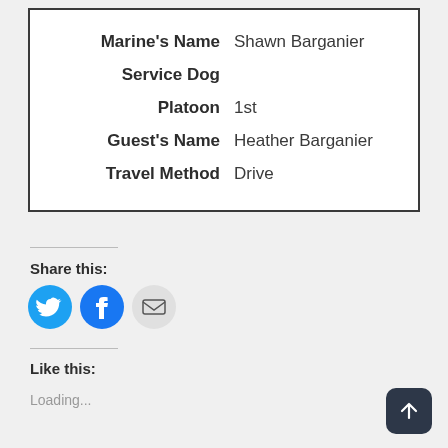| Marine's Name | Shawn Barganier |
| Service Dog |  |
| Platoon | 1st |
| Guest's Name | Heather Barganier |
| Travel Method | Drive |
Share this:
[Figure (other): Social share buttons: Twitter (blue bird), Facebook (blue f), Email (grey envelope)]
Like this:
Loading...